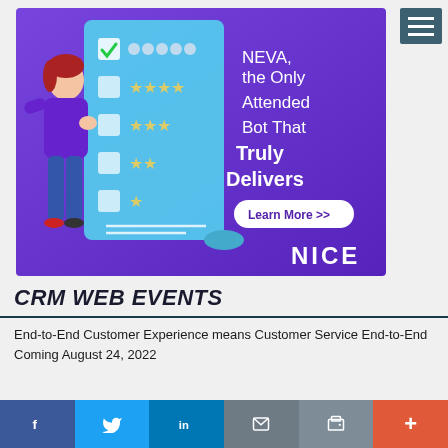[Figure (illustration): NICE advertisement banner showing a cartoon woman holding a blue checklist clipboard with robot heads and stars, with purple background. Text reads: NEVA, the Only Attended Bot That Truly Delivers. Learn More >> button. NICE logo at bottom right.]
CRM WEB EVENTS
End-to-End Customer Experience means Customer Service End-to-End Coming August 24, 2022
[Figure (infographic): Bottom social share bar with Facebook, Twitter, LinkedIn, email, print, and more (+) buttons]